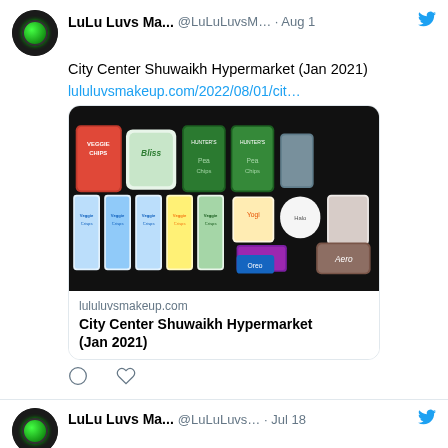[Figure (screenshot): Twitter/social media feed screenshot showing two tweets from LuLu Luvs Ma... account]
LuLu Luvs Ma... @LuLuLuvsM... · Aug 1
City Center Shuwaikh Hypermarket (Jan 2021)
lululuvsmakeup.com/2022/08/01/cit…
[Figure (photo): Photo of various snack packages including Veggie Chips, Bliss, Hunter's Pea Chips, Milka, Oreo, Aero and other snack products on a dark background]
lululuvsmakeup.com
City Center Shuwaikh Hypermarket (Jan 2021)
LuLu Luvs Ma... @LuLuLuvs... · Jul 18
Carrefour Small Haul (Jan 2021)
lululuvsmakeup.com/2022/07/18/car…